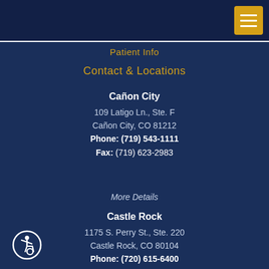Patient Info
Contact & Locations
Cañon City
109 Latigo Ln., Ste. F
Cañon City, CO 81212
Phone: (719) 543-1111
Fax: (719) 623-2983
More Details
Castle Rock
1175 S. Perry St., Ste. 220
Castle Rock, CO 80104
Phone: (720) 615-6400
Fax: (719) 623-2983
[Figure (illustration): Wheelchair accessibility icon — white figure in wheelchair inside a circle outline]